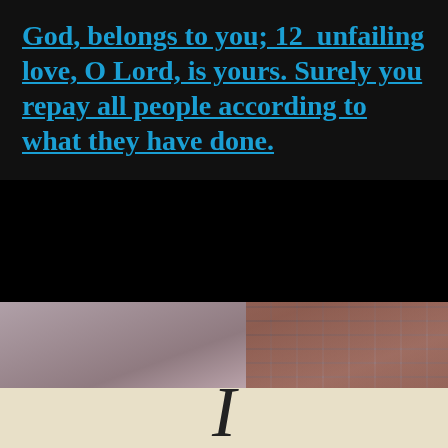God, belongs to you; 12  unfailing love, O Lord, is yours. Surely you repay all people according to what they have done.
[Figure (photo): A young woman wearing headphones walking outdoors near a brick building, with a video play button overlay in the center.]
I